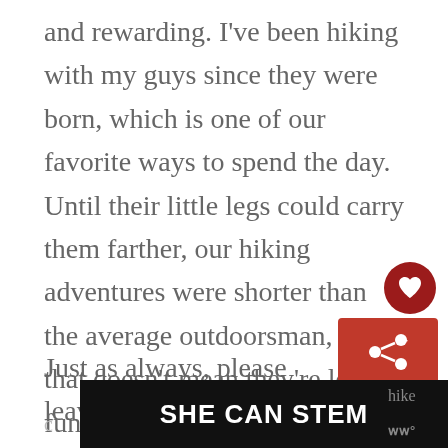and rewarding. I've been hiking with my guys since they were born, which is one of our favorite ways to spend the day. Until their little legs could carry them farther, our hiking adventures were shorter than the average outdoorsman, but that doesn't mean they're less fun!
Just as always, please leave a
[Figure (other): Dark red circular heart/favorite button icon]
[Figure (other): Red share button with share icon (arrow with plus)]
[Figure (other): What's Next panel showing thumbnail image with text: WHAT'S NEXT → 25 DREAMY RESORTS I...]
[Figure (other): Advertisement banner with dark background and white bold text reading SHE CAN STEM]